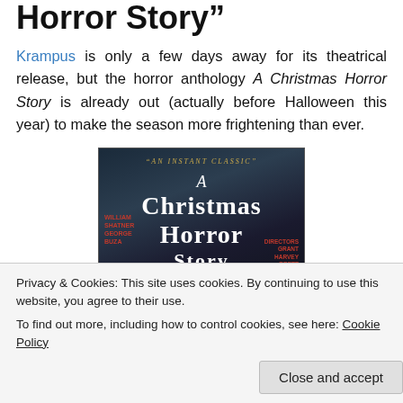Horror Story”
Krampus is only a few days away for its theatrical release, but the horror anthology A Christmas Horror Story is already out (actually before Halloween this year) to make the season more frightening than ever.
[Figure (photo): Movie poster for A Christmas Horror Story showing dark blue-grey wintry background with bare trees, a horned creature figure, and the title text. A red banner at top reads 'AN INSTANT CLASSIC'. Red text on left and right sides lists cast/crew details.]
Privacy & Cookies: This site uses cookies. By continuing to use this website, you agree to their use.
To find out more, including how to control cookies, see here: Cookie Policy
Close and accept